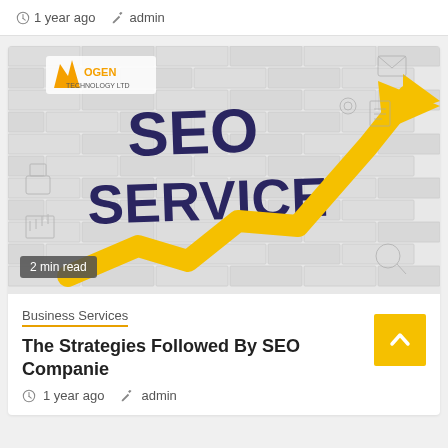1 year ago  admin
[Figure (photo): SEO Service promotional image showing 'SEO SERVICE' text on a brick wall with a yellow upward arrow chart, business icons in background, and 'SOGEN TECHNOLOGY LTD' logo in top-left. Badge reads '2 min read'.]
2 min read
Business Services
The Strategies Followed By SEO Companies
1 year ago  admin